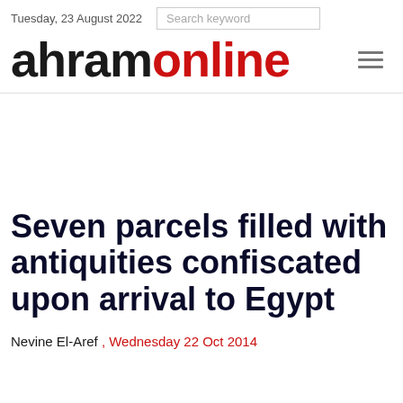Tuesday, 23 August 2022
ahramonline
Seven parcels filled with antiquities confiscated upon arrival to Egypt
Nevine El-Aref , Wednesday 22 Oct 2014